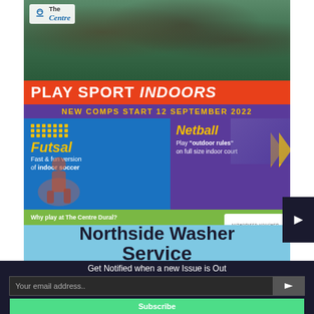[Figure (illustration): The Centre Dural sports advertisement showing basketball/netball game photo at top, with 'PLAY SPORT INDOORS' banner, 'NEW COMPS START 12 SEPTEMBER 2022', sections for Futsal and Netball, Active Kids badge, REGISTER ONLINE NOW button, and website URL thecentredural.org.au]
[Figure (illustration): Northside Washer Service advertisement with light blue background]
Get Notified when a new Issue is Out
Your email address..
Subscribe